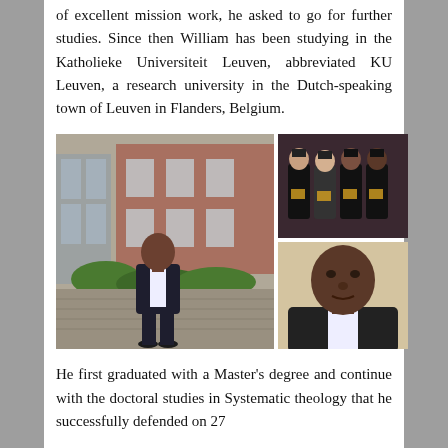of excellent mission work, he asked to go for further studies. Since then William has been studying in the Katholieke Universiteit Leuven, abbreviated KU Leuven, a research university in the Dutch-speaking town of Leuven in Flanders, Belgium.
[Figure (photo): Composite of three photos: left large photo shows a man in a dark suit standing in a brick courtyard; top right shows four people in academic graduation robes; bottom right shows a close-up portrait of a man in academic dress.]
He first graduated with a Master's degree and continue with the doctoral studies in Systematic theology that he successfully defended on 27